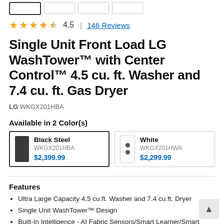[Figure (other): Row of product thumbnail image boxes at top; first box selected with dark border]
4.5 | 146 Reviews
Single Unit Front Load LG WashTower™ with Center Control™ 4.5 cu. ft. Washer and 7.4 cu. ft. Gas Dryer
LG WKGX201HBA
Available in 2 Color(s)
| Color | Model | Price |
| --- | --- | --- |
| Black Steel | WKGX201HBA | $2,399.99 |
| White | WKGX201HWA | $2,299.99 |
Features
Ultra Large Capacity 4.5 cu.ft. Washer and 7.4 cu.ft. Dryer
Single Unit WashTower™ Design
Built-In Intelligence - AI Fabric Sensors/Smart Learner/Smart